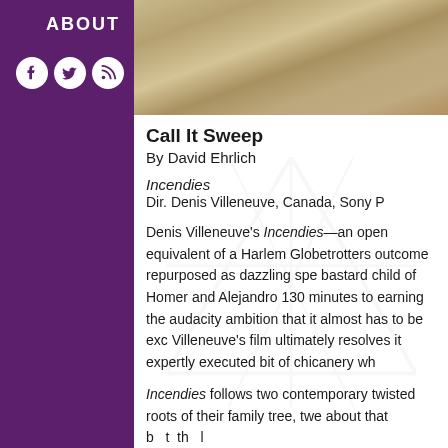ABOUT
[Figure (illustration): Social media icons: Facebook, Twitter, RSS feed — white circles on purple background]
[Figure (photo): Close-up photo of sandy/gravelly ground texture in tan and beige tones]
Call It Sweep
By David Ehrlich
Incendies
Dir. Denis Villeneuve, Canada, Sony P
Denis Villeneuve's Incendies—an open equivalent of a Harlem Globetrotters outcome repurposed as dazzling spe bastard child of Homer and Alejandro 130 minutes to earning the audacity ambition that it almost has to be exc Villeneuve's film ultimately resolves it expertly executed bit of chicanery wh
Incendies follows two contemporary twisted roots of their family tree, twe about that b t th l